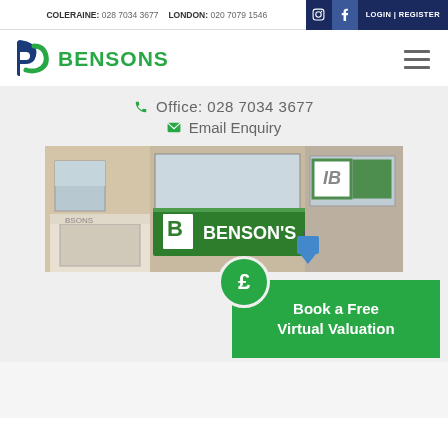COLERAINE: 028 7034 3677   LONDON: 020 7079 1546   LOGIN | REGISTER
[Figure (logo): Bensons estate agents logo with blue 'b' lettermark and green BENSONS text]
Office:  028 7034 3677
Email Enquiry
[Figure (photo): Street-level photo of Bensons estate agents shopfront with green signage]
Book a Free Virtual Valuation